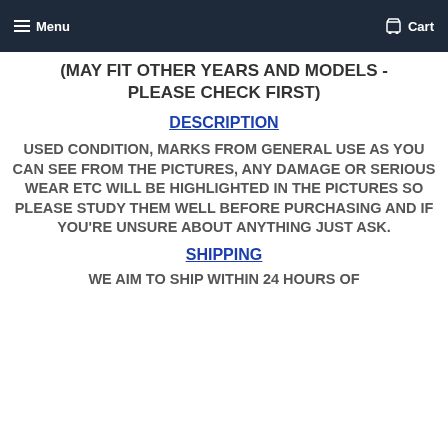Menu  Cart
(MAY FIT OTHER YEARS AND MODELS - PLEASE CHECK FIRST)
DESCRIPTION
USED CONDITION, MARKS FROM GENERAL USE AS YOU CAN SEE FROM THE PICTURES, ANY DAMAGE OR SERIOUS WEAR ETC WILL BE HIGHLIGHTED IN THE PICTURES SO PLEASE STUDY THEM WELL BEFORE PURCHASING AND IF YOU'RE UNSURE ABOUT ANYTHING JUST ASK.
SHIPPING
WE AIM TO SHIP WITHIN 24 HOURS OF